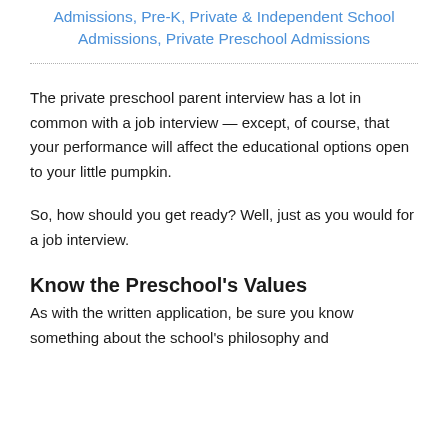Admissions, Pre-K, Private & Independent School Admissions, Private Preschool Admissions
The private preschool parent interview has a lot in common with a job interview — except, of course, that your performance will affect the educational options open to your little pumpkin.
So, how should you get ready? Well, just as you would for a job interview.
Know the Preschool's Values
As with the written application, be sure you know something about the school's philosophy and...